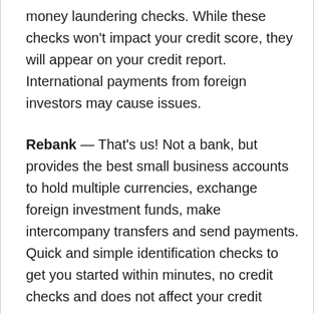money laundering checks. While these checks won't impact your credit score, they will appear on your credit report. International payments from foreign investors may cause issues.
Rebank — That's us! Not a bank, but provides the best small business accounts to hold multiple currencies, exchange foreign investment funds, make intercompany transfers and send payments. Quick and simple identification checks to get you started within minutes, no credit checks and does not affect your credit score.